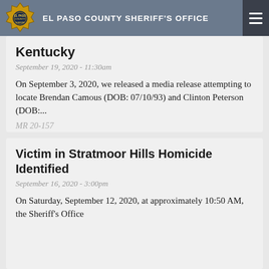EL PASO COUNTY SHERIFF'S OFFICE
Kentucky
September 19, 2020 - 11:30am
On September 3, 2020, we released a media release attempting to locate Brendan Camous (DOB: 07/10/93) and Clinton Peterson (DOB:...
MR 20-157
Read More
Download PDF
Victim in Stratmoor Hills Homicide Identified
September 16, 2020 - 3:00pm
On Saturday, September 12, 2020, at approximately 10:50 AM, the Sheriff's Office